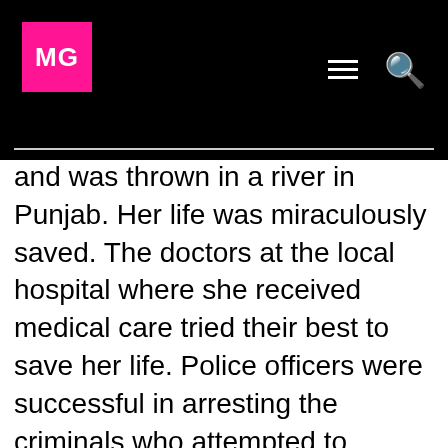MG
and was thrown in a river in Punjab. Her life was miraculously saved. The doctors at the local hospital where she received medical care tried their best to save her life. Police officers were successful in arresting the criminals who attempted to murder her. While telling Saba's story, Obaid-Chinoy also explained a discovery she had while writing her dark story. She realized that if every member of society worked together to preserve humanity — this crime can end once and for all.